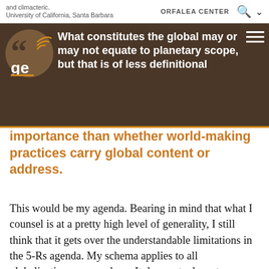and climacteric.
University of California, Santa Barbara    ORFALEA CENTER
What constitutes the global may or may not equate to planetary scope, but that is of less definitional importance than whether world-making practices carry global content or address.
This would be my agenda. Bearing in mind that what I counsel is at a pretty high level of generality, I still think that it gets over the understandable limitations in the 5-Rs agenda. My schema applies to all globalizations, everywhere. It does not advocate a presentist stance, the seeming abrogation of history outlined in the 5-Rs; it admits the possibility that all globalizations may be alike—but that they may not be so, especially where it matters in the register of human happiness and progress. And it works with concepts—world-making practices, emergent